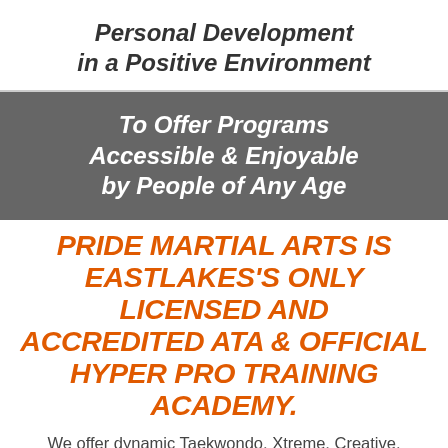Personal Development in a Positive Environment
To Offer Programs Accessible & Enjoyable by People of Any Age
PRIDE MARTIAL ARTS IS EASTLAKES'S ONLY LICENSED AND ACCREDITED ATA & OFFICIAL HYPER PRO TRAINING ACADEMY.
We offer dynamic Taekwondo, Xtreme, Creative, Weapons, Combat Fitness, Hyper Fight, Bully